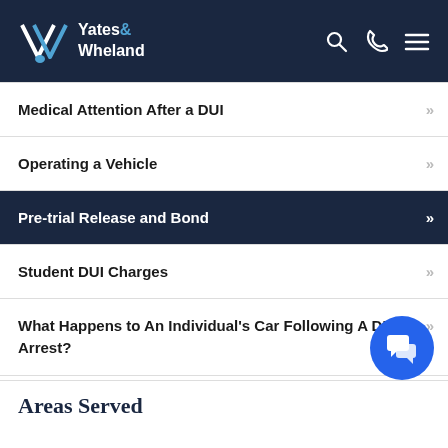Yates & Wheland
Medical Attention After a DUI
Operating a Vehicle
Pre-trial Release and Bond
Student DUI Charges
What Happens to An Individual's Car Following A DUI Arrest?
Where You Are Taken Following a DUI
Areas Served